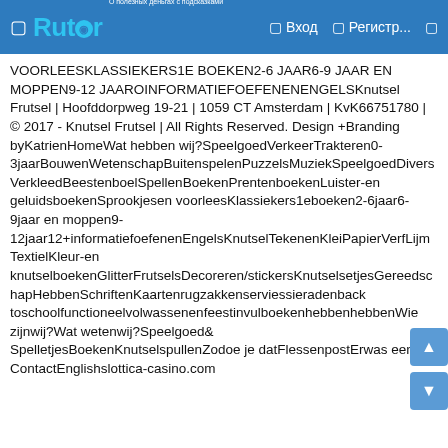Rutor | Вход | Регистр...
VOORLEESKLASSIEKERS1E BOEKEN2-6 JAAR6-9 JAAR EN MOPPEN9-12 JAAROINFORMATIEFOEFENENENGELSKnutsel Frutsel | Hoofddorpweg 19-21 | 1059 CT Amsterdam | KvK66751780 | © 2017 - Knutsel Frutsel | All Rights Reserved. Design +Branding byKatrienHomeWat hebben wij?SpeelgoedVerkeerTrakteren0-3jaarBouwenWetenschapBuitenspelenPuzzelsMuziekSpeelgoedDiversVerkleedBeestenboelSpellenBoekenPrentenboekenLuister-en geluidsboekenSprookjesen voorleesKlassiekers1eboeken2-6jaar6-9jaar en moppen9-12jaar12+informatiefoefenenEngelsKnutselTekenenKleiPapierVerfLijmTextielKleur-en knutselboekenGlitterFrutselsDecoreren/stickersKnutselsetjesGereedschapHebbenSchriftenKaartenrugzakkenserviessieradenback toschoolfunctioneelvolwassenenfeestinvulboekenhebbenhebbenWie zijnwij?Wat wetenwij?Speelgoed&SpelletjesBoekenKnutselspullenZodoe je datFlessenpostErwas eens…ContactEnglishslottica-casino.com